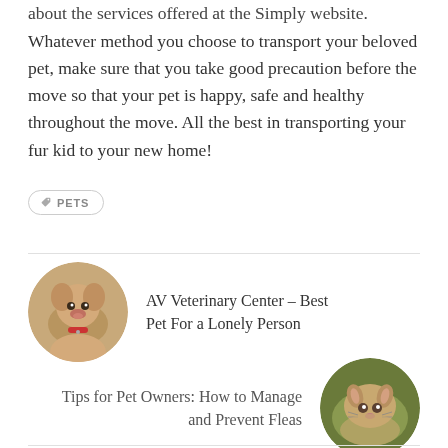about the services offered at the Simply website.
Whatever method you choose to transport your beloved pet, make sure that you take good precaution before the move so that your pet is happy, safe and healthy throughout the move. All the best in transporting your fur kid to your new home!
PETS
[Figure (photo): Circular thumbnail of a golden retriever puppy with a red collar]
AV Veterinary Center – Best Pet For a Lonely Person
Tips for Pet Owners: How to Manage and Prevent Fleas
[Figure (photo): Circular thumbnail of a cat lying on its back in grass]